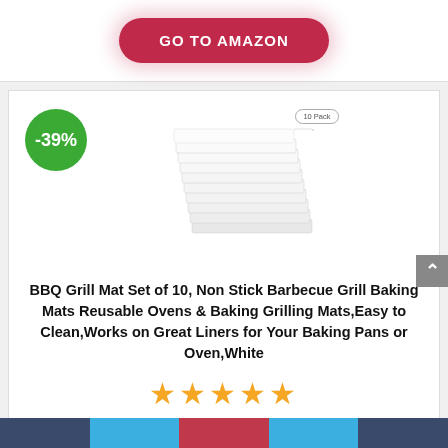[Figure (other): GO TO AMAZON button - red/crimson rounded pill button with white bold uppercase text and pink glow shadow]
[Figure (other): Product image: stack of 10 white BBQ grill mats with '10 Pack' badge, and a green circle badge showing '-39%' discount]
BBQ Grill Mat Set of 10, Non Stick Barbecue Grill Baking Mats Reusable Ovens & Baking Grilling Mats,Easy to Clean,Works on Great Liners for Your Baking Pans or Oven,White
[Figure (other): 5 gold/orange star rating icons]
$8.39–$11.99 $16.67